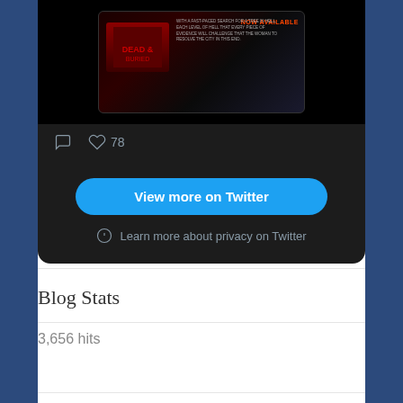[Figure (screenshot): Twitter embed widget showing a dark-themed tweet card with a movie/book promotional image, heart icon with 78 likes, a blue 'View more on Twitter' button, and a privacy info link.]
Blog Stats
3,656 hits